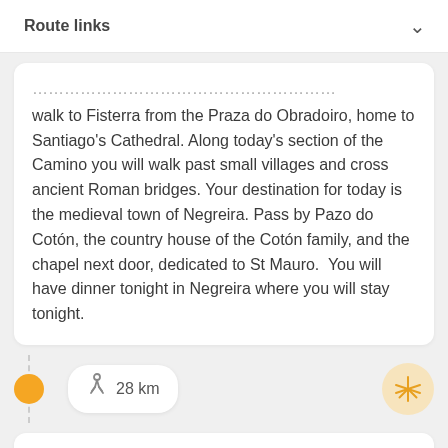Route links
walk to Fisterra from the Praza do Obradoiro, home to Santiago's Cathedral. Along today's section of the Camino you will walk past small villages and cross ancient Roman bridges. Your destination for today is the medieval town of Negreira. Pass by Pazo do Cotón, the country house of the Cotón family, and the chapel next door, dedicated to St Mauro.  You will have dinner tonight in Negreira where you will stay tonight.
28 km
Abeleiroas